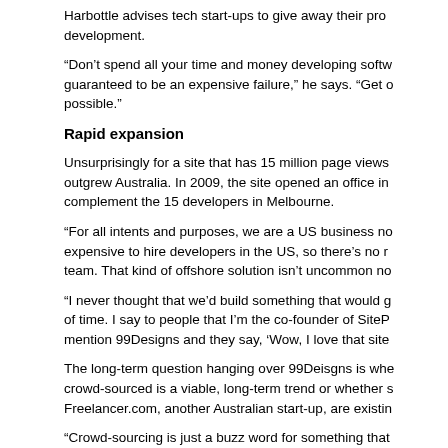Harbottle advises tech start-ups to give away their pro development.
“Don’t spend all your time and money developing softw guaranteed to be an expensive failure,” he says. “Get o possible.”
Rapid expansion
Unsurprisingly for a site that has 15 million page views outgrew Australia. In 2009, the site opened an office in complement the 15 developers in Melbourne.
“For all intents and purposes, we are a US business no expensive to hire developers in the US, so there’s no r team. That kind of offshore solution isn’t uncommon no
“I never thought that we’d build something that would g of time. I say to people that I’m the co-founder of SiteP mention 99Designs and they say, ‘Wow, I love that site
The long-term question hanging over 99Deisgns is whe crowd-sourced is a viable, long-term trend or whether s Freelancer.com, another Australian start-up, are existin
“Crowd-sourcing is just a buzz word for something that Harbottle argues. “It seems like a bubble in that some of that buzz word.”
“It just doesn’t work for some businesses – say, if you a aircraft for $10,000 for example. Designers create logo clients, not the $200 to $300 they make on a job.”